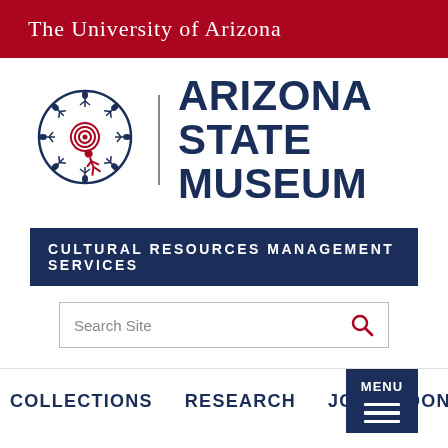The University of Arizona
[Figure (logo): Arizona State Museum logo: circular emblem with figures and spiral, red and navy blue, alongside museum wordmark 'Arizona State Museum']
CULTURAL RESOURCES MANAGEMENT SERVICES
Search Site
COLLECTIONS  RESEARCH  JOIN  DONATE
MENU